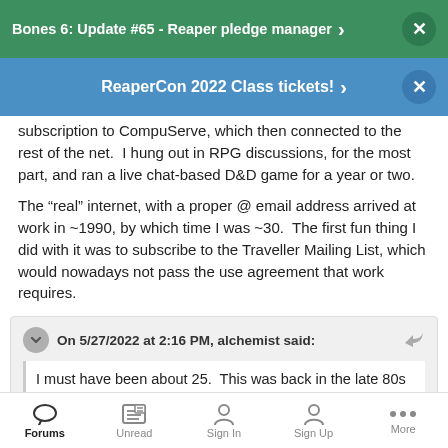Bones 6: Update #65 - Reaper pledge manager
ReaperCon 2022 Class tickets!
subscription to CompuServe, which then connected to the rest of the net.  I hung out in RPG discussions, for the most part, and ran a live chat-based D&D game for a year or two.
The “real” internet, with a proper @ email address arrived at work in ~1990, by which time I was ~30.  The first fun thing I did with it was to subscribe to the Traveller Mailing List, which would nowadays not pass the use agreement that work requires.
On 5/27/2022 at 2:16 PM, alchemist said:
I must have been about 25.  This was back in the late 80s when home internet access was still uncommon, but I was
Forums | Unread | Sign In | Sign Up | More